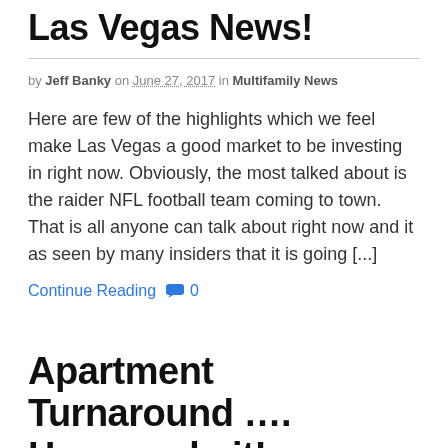Las Vegas News!
by Jeff Banky on June 27, 2017 in Multifamily News
Here are few of the highlights which we feel make Las Vegas a good market to be investing in right now. Obviously, the most talked about is the raider NFL football team coming to town. That is all anyone can talk about right now and it as seen by many insiders that it is going [...]
Continue Reading 💬 0
Apartment Turnaround .... How we do it!
by Jeff Banky on June 21, 2017 in Adding Value
Taking an underperforming apartment building turning it into